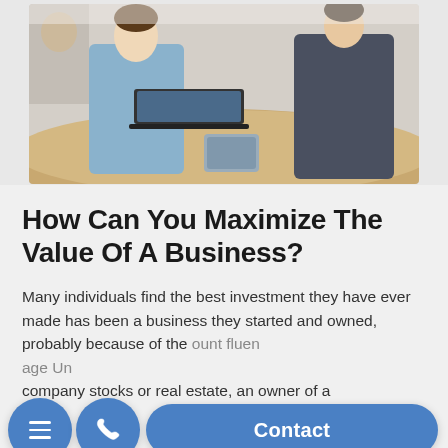[Figure (photo): Photo of business professionals sitting at a round table with a laptop, viewed from side angle. One person in light blue shirt, another in dark clothing.]
How Can You Maximize The Value Of A Business?
Many individuals find the best investment they have ever made has been a business they started and owned, probably because of the amount of influence [they have]... Unlike company stocks or real estate, an owner of a